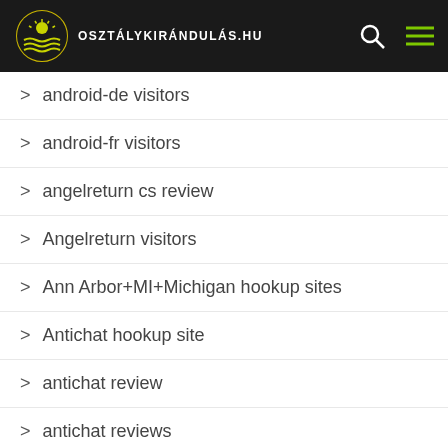osztálykirándulás.hu
android-de visitors
android-fr visitors
angelreturn cs review
Angelreturn visitors
Ann Arbor+MI+Michigan hookup sites
Antichat hookup site
antichat review
antichat reviews
AntiChat visitors
antioch the escort